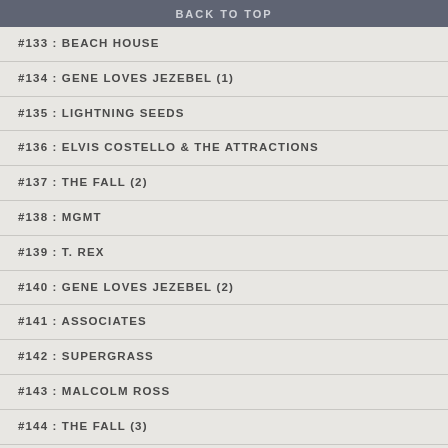BACK TO TOP
#133 : BEACH HOUSE
#134 : GENE LOVES JEZEBEL (1)
#135 : LIGHTNING SEEDS
#136 : ELVIS COSTELLO & THE ATTRACTIONS
#137 : THE FALL (2)
#138 : MGMT
#139 : T. REX
#140 : GENE LOVES JEZEBEL (2)
#141 : ASSOCIATES
#142 : SUPERGRASS
#143 : MALCOLM ROSS
#144 : THE FALL (3)
#145 : THE FEELIES